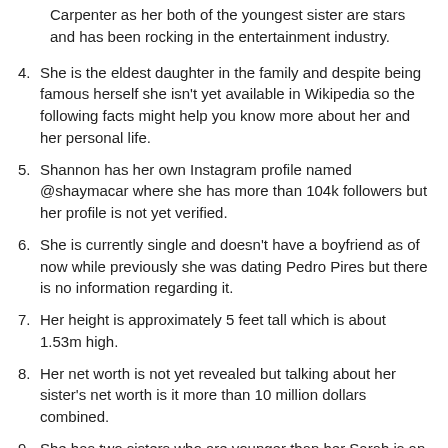Carpenter as her both of the youngest sister are stars and has been rocking in the entertainment industry.
4. She is the eldest daughter in the family and despite being famous herself she isn't yet available in Wikipedia so the following facts might help you know more about her and her personal life.
5. Shannon has her own Instagram profile named @shaymacar where she has more than 104k followers but her profile is not yet verified.
6. She is currently single and doesn't have a boyfriend as of now while previously she was dating Pedro Pires but there is no information regarding it.
7. Her height is approximately 5 feet tall which is about 1.53m high.
8. Her net worth is not yet revealed but talking about her sister's net worth is it more than 10 million dollars combined.
9. She has two sisters who are younger than her Sarah is an actor while Sabrina is an actor and singer.